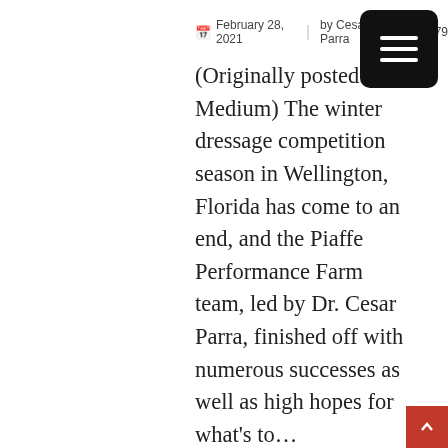February 28, 2021 | by Cesar Parra | 279
(Originally posted on Medium) The winter dressage competition season in Wellington, Florida has come to an end, and the Piaffe Performance Farm team, led by Dr. Cesar Parra, finished off with numerous successes as well as high hopes for what's to...
Read more
Dr. Cesar Parra and Don Cesar Dominate FEI